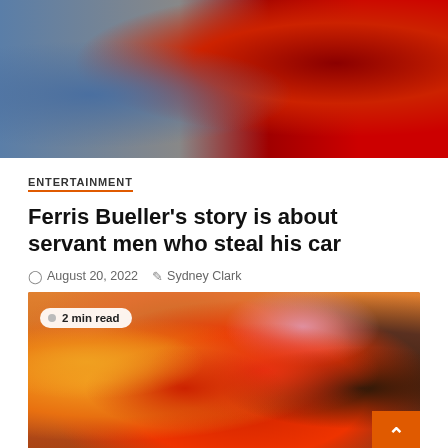[Figure (photo): Photo of people sitting together, one wearing a red Detroit Red Wings hockey jersey with number 9]
ENTERTAINMENT
Ferris Bueller's story is about servant men who steal his car
August 20, 2022   Sydney Clark
[Figure (photo): Photo of Sesame Street Muppet characters including Elmo, Ernie, and others with a young girl, with a '2 min read' badge overlay]